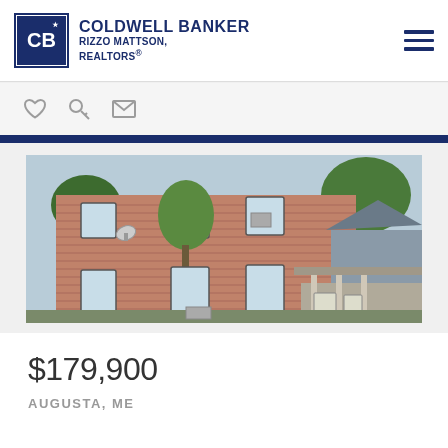COLDWELL BANKER RIZZO MATTSON, REALTORS®
[Figure (photo): Exterior photo of a two-story brick/wood-sided multi-family residential building in Augusta, ME with trees in front and a neighboring house with covered porch visible]
$179,900
AUGUSTA, ME